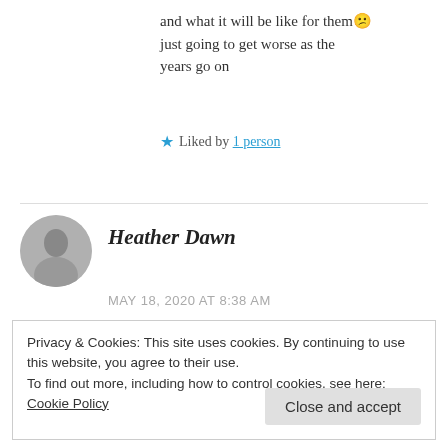and what it will be like for them 😞 just going to get worse as the years go on
★ Liked by 1 person
Heather Dawn
MAY 18, 2020 AT 8:38 AM
Privacy & Cookies: This site uses cookies. By continuing to use this website, you agree to their use.
To find out more, including how to control cookies, see here: Cookie Policy
Close and accept